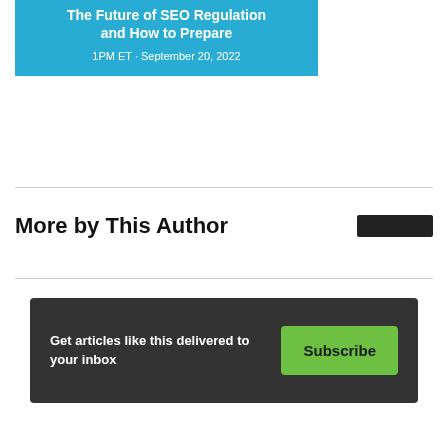[Figure (infographic): Blue banner with white text: 'The Future of SEO Regulation and How to Prepare' and date '1PM ET · September 20, 2022']
More by This Author
Get articles like this delivered to your inbox
Subscribe